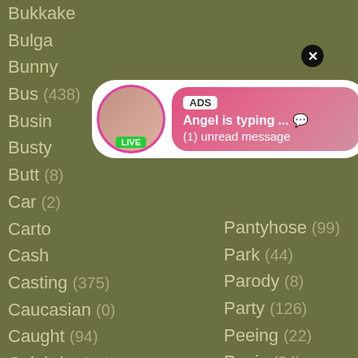Background category list including: Bukkake, Bulga-, Bunny, Bus (438), Busin-, Busty, Butt, Car (2-), Carto-, Cash, Casting (375), Caucasian (0), Caught (94), Celebrity (74), Censored (118), Changing (1), Chat (12) — right column: Pantyhose (99), Park (44), Parody (8), Party (126), Peeing (22), Penis (24), Perfect (109)
[Figure (screenshot): Ad popup 1: circular avatar with LIVE badge, gradient pink background with ADS badge, 'Angel is typing ... (emoji)' and '(1) unread message' text, close X button]
[Figure (screenshot): Ad popup 2: dark background with woman selfie photo, REC badge, ADS badge, '• Dating for men! Find bad girls here (emoji)' text, close X button]